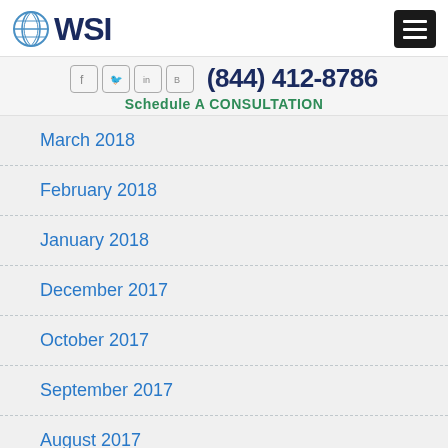WSI logo and navigation header
(844) 412-8786
Schedule A CONSULTATION
March 2018
February 2018
January 2018
December 2017
October 2017
September 2017
August 2017
July 2017
June 2017